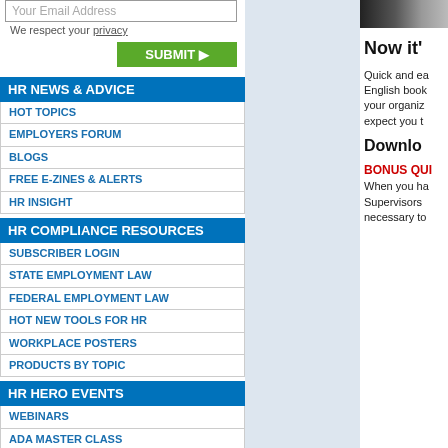Your Email Address
We respect your privacy
SUBMIT
HR NEWS & ADVICE
HOT TOPICS
EMPLOYERS FORUM
BLOGS
FREE E-ZINES & ALERTS
HR INSIGHT
HR COMPLIANCE RESOURCES
SUBSCRIBER LOGIN
STATE EMPLOYMENT LAW
FEDERAL EMPLOYMENT LAW
HOT NEW TOOLS FOR HR
WORKPLACE POSTERS
PRODUCTS BY TOPIC
HR HERO EVENTS
WEBINARS
ADA MASTER CLASS
FMLA MASTER CLASS
OSHA MASTER CLASS
WAGE & HOUR MASTER CLASS
ADVANCED EMPLOYMENT ISSUES SYMPOSIUM
BLR SAFETY SUMMIT
CALIFORNIA EMPLOYMENT LAW UPDATE
CAL/OSHA SUMMIT
LEARNING TECH CONFERENCE
RECRUITCON
THRIVE ANNUAL CONFERENCE
WORKPLACE VIOLENCE PREVENTION SYMPOSIUM
TRAINING RESOURCES
[Figure (photo): Partial photo strip at top right]
Now it'
Quick and ea English book your organiz expect you t
Downlo
BONUS QUI
When you ha Supervisors necessary to